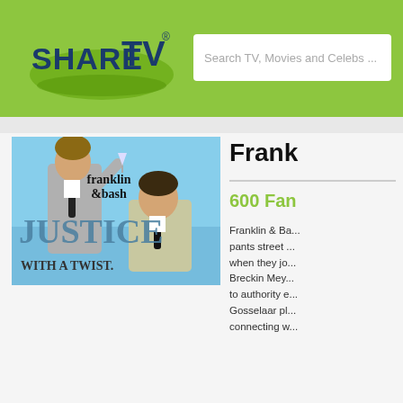ShareTV - Search TV, Movies and Celebs ...
[Figure (screenshot): Franklin & Bash TV show promotional image showing two men in suits with text 'franklin &bash JUSTICE WITH A TWIST.']
Franklin & Bash
600 Fans
Franklin & Ba... pants street ... when they jo... Breckin Mey... to authority e... Gosselaar pl... connecting w...